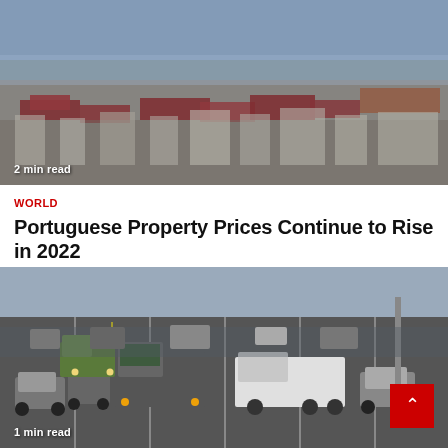[Figure (photo): Aerial view of a city with red-roofed buildings and dense urban landscape]
2 min read
WORLD
Portuguese Property Prices Continue to Rise in 2022
Martin Woolridge  6 months ago  1699
[Figure (photo): Heavy traffic on a multi-lane highway with trucks and cars]
1 min read